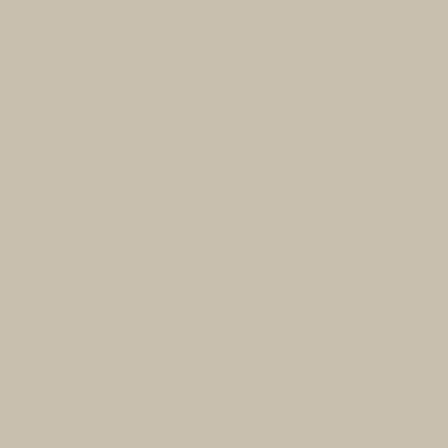<a href="http://www.blog.hassle.com/infographic-40-life-hacks-around-the-home/" target="_blank"><img src="http://blog.hassle.com/wp...
Comments
0 comments
0 Comments
Sort by Newest
Add a comment...
Facebook Comments Plugin
1
Shares